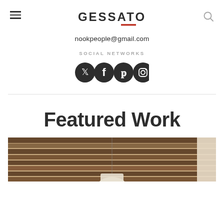GESSATO
nookpeople@gmail.com
SOCIAL NETWORKS
[Figure (illustration): Four social media icons: Twitter, Facebook, Pinterest, Instagram — all dark circular icons]
Featured Work
[Figure (photo): Interior room photo showing a rustic wooden beam ceiling with warm brown tones, a pendant lamp shade visible at the bottom center, and a window on the right side]